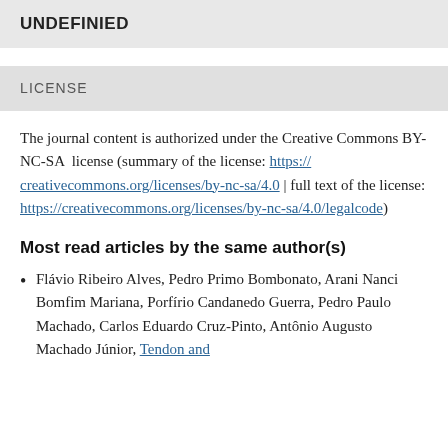UNDEFINIED
LICENSE
The journal content is authorized under the Creative Commons BY-NC-SA license (summary of the license: https://creativecommons.org/licenses/by-nc-sa/4.0 | full text of the license: https://creativecommons.org/licenses/by-nc-sa/4.0/legalcode)
Most read articles by the same author(s)
Flávio Ribeiro Alves, Pedro Primo Bombonato, Arani Nanci Bomfim Mariana, Porfírio Candanedo Guerra, Pedro Paulo Machado, Carlos Eduardo Cruz-Pinto, Antônio Augusto Machado Júnior, Tendon and